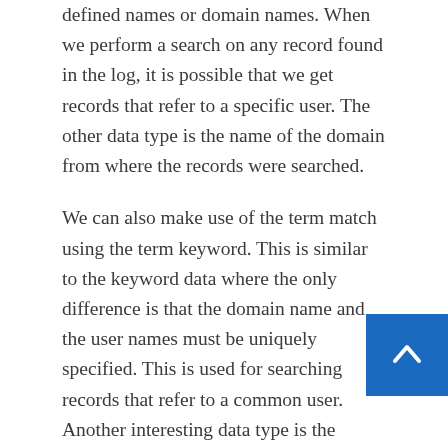defined names or domain names. When we perform a search on any record found in the log, it is possible that we get records that refer to a specific user. The other data type is the name of the domain from where the records were searched.
We can also make use of the term match using the term keyword. This is similar to the keyword data where the only difference is that the domain name and the user names must be uniquely specified. This is used for searching records that refer to a common user. Another interesting data type is the domain accessed by a domain name. The domain accessed refers to the number of unique visitors that accessed the domain name.
Now we have understood the data types used in an discovery. We can perform searches on different types of keywords and record all results in a single place. If you